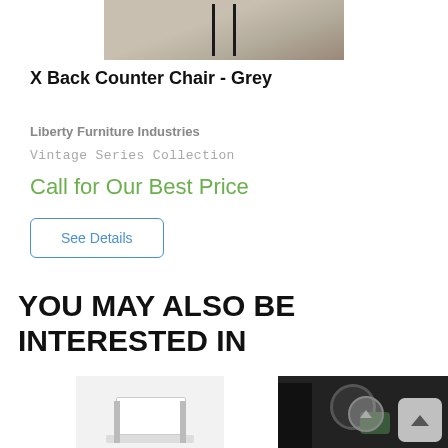[Figure (photo): Top portion of a product photo showing an X Back Counter Chair in Grey, with a textured linen/burlap background and dark metal frame visible at the top.]
X Back Counter Chair - Grey
Liberty Furniture Industries
Vintage Series Collection
Call for Our Best Price
See Details
YOU MAY ALSO BE INTERESTED IN
[Figure (photo): Partial product image of a white/light colored chair or bench, shown at the bottom left.]
[Figure (photo): Partial product image with dark background showing a clock and plants on a shelf.]